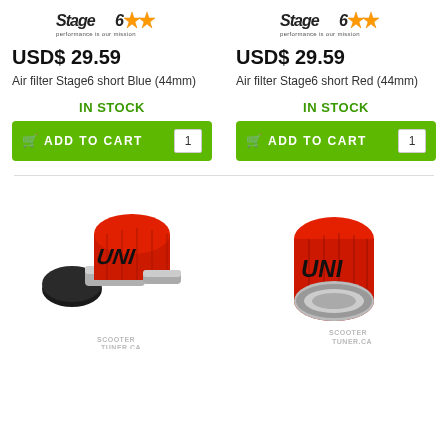[Figure (logo): Stage6 logo with stars - left product]
[Figure (logo): Stage6 logo with stars - right product]
USD$ 29.59
USD$ 29.59
Air filter Stage6 short Blue (44mm)
Air filter Stage6 short Red (44mm)
IN STOCK
IN STOCK
ADD TO CART  1
ADD TO CART  1
[Figure (photo): UNI brand red foam air filter, angled view with silver base, scootertuner.ca watermark]
[Figure (photo): UNI brand red foam air filter, straight view with silver/chrome base, scootertuner.ca watermark]